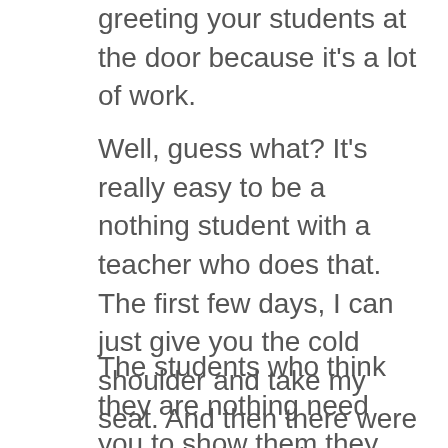greeting your students at the door because it's a lot of work.
Well, guess what? It's really easy to be a nothing student with a teacher who does that. The first few days, I can just give you the cold shoulder and take my seat. And then there were a couple days where I thought you stopped trying to greet me, so it was easier for me to be nothing. And then there was another day of it, and I thought “oh geez, she’s trying it again,” and then you stopped, and I went on being nothing. And I learned nothing except how to feel like nothing.
The students who think they are nothing need you to show them they are something Every. Single. Day. Because it’s easy to ignore the idea that I am